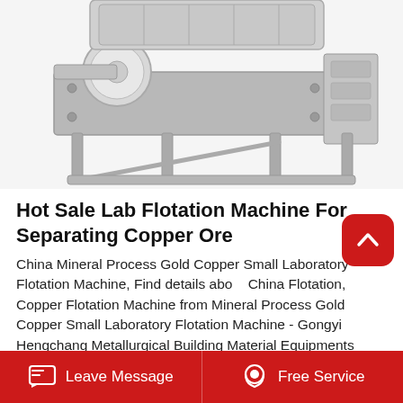[Figure (photo): Industrial lab flotation machine - a large grey mechanical separator with cylindrical roller and frame structure, partially cropped at top]
Hot Sale Lab Flotation Machine For Separating Copper Ore
China Mineral Process Gold Copper Small Laboratory Flotation Machine, Find details about China Flotation, Copper Flotation Machine from Mineral Process Gold Copper Small Laboratory Flotation Machine - Gongyi Hengchang Metallurgical Building Material Equipments Plant.
China Mineral Separator Equipment - Select 2021 Mineral Separator Equipment products from
Leave Message   Free Service